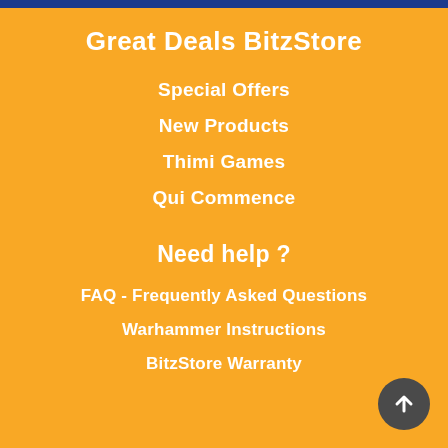Great Deals BitzStore
Special Offers
New Products
Thimi Games
Qui Commence
Need help ?
FAQ - Frequently Asked Questions
Warhammer Instructions
BitzStore Warranty